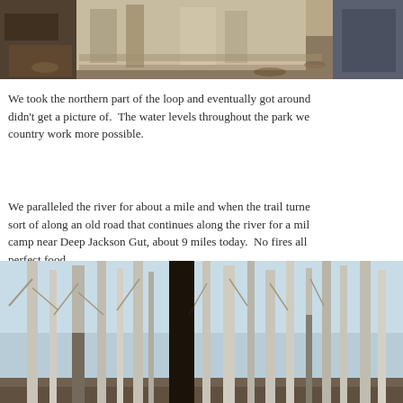[Figure (photo): Cropped top portion of a photo showing a person wearing light-colored pants/clothing among rocks and fallen leaves, with another figure partially visible at right edge.]
We took the northern part of the loop and eventually got around didn't get a picture of.  The water levels throughout the park we country work more possible.
We paralleled the river for about a mile and when the trail turne sort of along an old road that continues along the river for a mil camp near Deep Jackson Gut, about 9 miles today.  No fires all perfect food.
[Figure (photo): Bare winter forest scene with thin, pale tree trunks (possibly sycamores or birches) against a blue sky. Some trees have fire-blackened bark. Leafless branches fill the frame.]